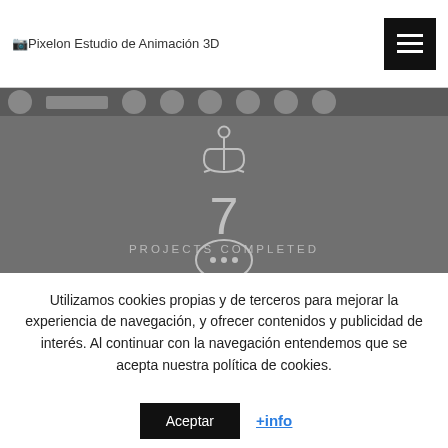Pixelon Estudio de Animación 3D
[Figure (screenshot): Gray website section showing an anchor icon, the number 7, and text 'PROJECTS COMPLETED' with a speech bubble icon at the bottom, plus a dark top strip with circular and rectangular placeholder shapes.]
Utilizamos cookies propias y de terceros para mejorar la experiencia de navegación, y ofrecer contenidos y publicidad de interés. Al continuar con la navegación entendemos que se acepta nuestra política de cookies.
Aceptar   +info